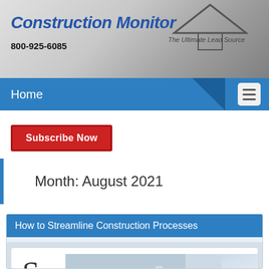Construction Monitor — The Ultimate Lead Source, 800-925-6085
Home
Subscribe Now
Month: August 2021
How to Streamline Construction Processes
[Figure (photo): Construction worker wearing white hard hat, partial view of drop cap text beginning with 'Six' on left side]
Six